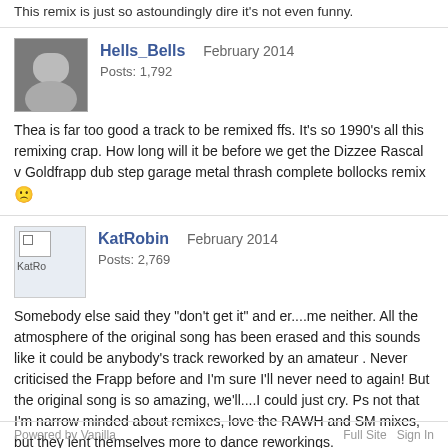This remix is just so astoundingly dire it's not even funny.
Hells_Bells  February 2014
Posts: 1,792
Thea is far too good a track to be remixed ffs. It's so 1990's all this remixing crap. How long will it be before we get the Dizzee Rascal v Goldfrapp dub step garage metal thrash complete bollocks remix
KatRobin  February 2014
Posts: 2,769
Somebody else said they "don't get it" and er....me neither. All the atmosphere of the original song has been erased and this sounds like it could be anybody's track reworked by an amateur . Never criticised the Frapp before and I'm sure I'll never need to again! But the original song is so amazing, we'll....I could just cry. Ps not that I'm narrow minded about remixes, love the RAWH and SM mixes, but they lent themselves more to dance reworkings. Sorreeeeeeeee.....still love you!!
More Comments
Add a Comment
Powered by Vanilla    Full Site  Sign In